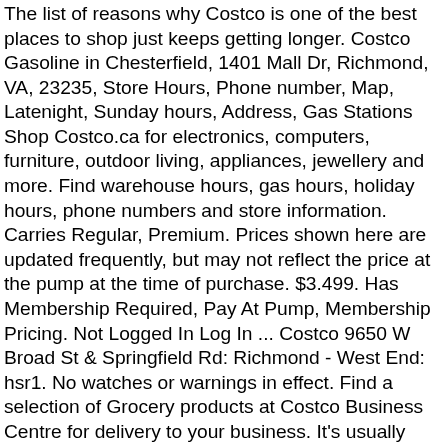The list of reasons why Costco is one of the best places to shop just keeps getting longer. Costco Gasoline in Chesterfield, 1401 Mall Dr, Richmond, VA, 23235, Store Hours, Phone number, Map, Latenight, Sunday hours, Address, Gas Stations Shop Costco.ca for electronics, computers, furniture, outdoor living, appliances, jewellery and more. Find warehouse hours, gas hours, holiday hours, phone numbers and store information. Carries Regular, Premium. Prices shown here are updated frequently, but may not reflect the price at the pump at the time of purchase. $3.499. Has Membership Required, Pay At Pump, Membership Pricing. Not Logged In Log In ... Costco 9650 W Broad St & Springfield Rd: Richmond - West End: hsr1. No watches or warnings in effect. Find a selection of Grocery products at Costco Business Centre for delivery to your business. It's usually hard to beat Costco's gas prices. Sam's Club 9440 W Broad St near Coppermill Trace: Richmond … Search for the lowest gasoline prices in Pinole, CA. Rated 4.8 out of 5 stars. When I'm in Vallejo I buy gas there. The only thing I dislike about this Costco is the traffic pattern at the gas station. Think of the low gas prices at Costco like you'd think of their $1.50 hot dog meal or their $5 rotisserie chicken. Has Membership Required, Pay At Pump, Membership Pricing. Costco in Richmond,